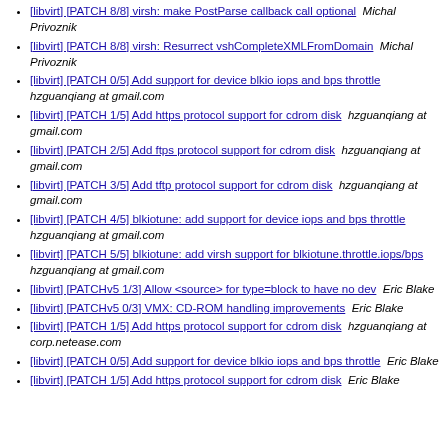[libvirt] [PATCH 8/8] virsh: make PostParse callback call optional  Michal Privoznik
[libvirt] [PATCH 8/8] virsh: Resurrect vshCompleteXMLFromDomain  Michal Privoznik
[libvirt] [PATCH 0/5] Add support for device blkio iops and bps throttle  hzguanqiang at gmail.com
[libvirt] [PATCH 1/5] Add https protocol support for cdrom disk  hzguanqiang at gmail.com
[libvirt] [PATCH 2/5] Add ftps protocol support for cdrom disk  hzguanqiang at gmail.com
[libvirt] [PATCH 3/5] Add tftp protocol support for cdrom disk  hzguanqiang at gmail.com
[libvirt] [PATCH 4/5] blkiotune: add support for device iops and bps throttle  hzguanqiang at gmail.com
[libvirt] [PATCH 5/5] blkiotune: add virsh support for blkiotune.throttle.iops/bps  hzguanqiang at gmail.com
[libvirt] [PATCHv5 1/3] Allow <source> for type=block to have no dev  Eric Blake
[libvirt] [PATCHv5 0/3] VMX: CD-ROM handling improvements  Eric Blake
[libvirt] [PATCH 1/5] Add https protocol support for cdrom disk  hzguanqiang at corp.netease.com
[libvirt] [PATCH 0/5] Add support for device blkio iops and bps throttle  Eric Blake
[libvirt] [PATCH 1/5] Add https protocol support for cdrom disk  Eric Blake